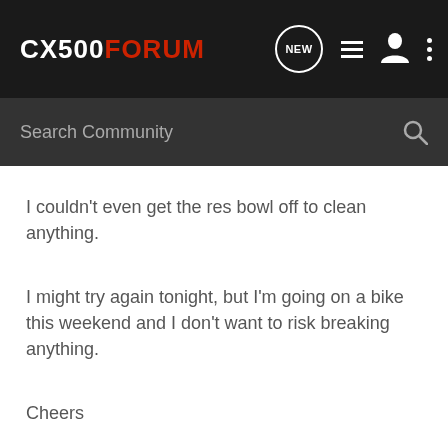CX500FORUM
Search Community
I couldn't even get the res bowl off to clean anything.
I might try again tonight, but I'm going on a bike this weekend and I don't want to risk breaking anything.
Cheers